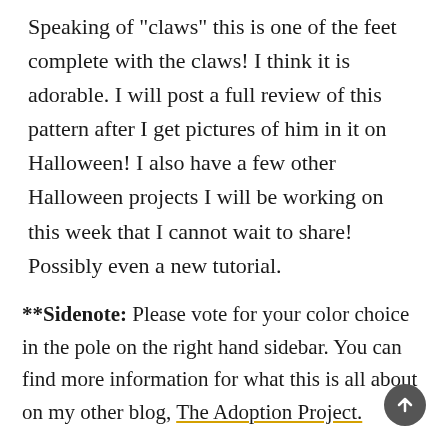Speaking of "claws" this is one of the feet complete with the claws! I think it is adorable. I will post a full review of this pattern after I get pictures of him in it on Halloween! I also have a few other Halloween projects I will be working on this week that I cannot wait to share! Possibly even a new tutorial.
**Sidenote: Please vote for your color choice in the pole on the right hand sidebar. You can find more information for what this is all about on my other blog, The Adoption Project.